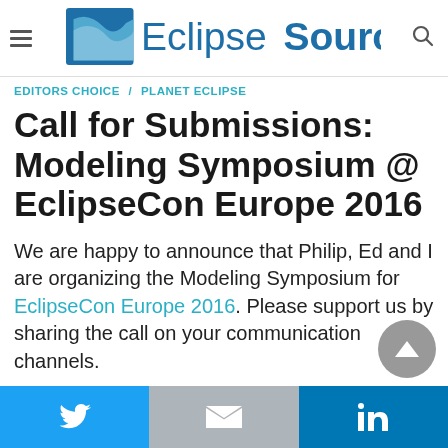EclipseSource
EDITORS CHOICE / PLANET ECLIPSE
Call for Submissions: Modeling Symposium @ EclipseCon Europe 2016
We are happy to announce that Philip, Ed and I are organizing the Modeling Symposium for EclipseCon Europe 2016. Please support us by sharing the call on your communication channels.